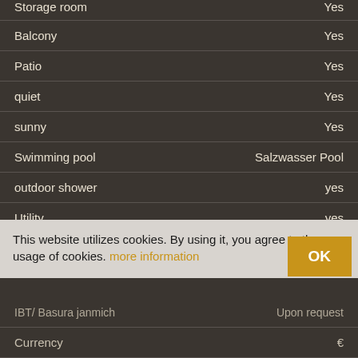| Property | Value |
| --- | --- |
| Storage room | Yes |
| Balcony | Yes |
| Patio | Yes |
| quiet | Yes |
| sunny | Yes |
| Swimming pool | Salzwasser Pool |
| outdoor shower | yes |
| Utility | yes |
| Entkalkungsanlage | yes |
This website utilizes cookies. By using it, you agree to the usage of cookies. more information
| Property | Value |
| --- | --- |
| IBT/ Basura janmich | Upon request |
| Currency | € |